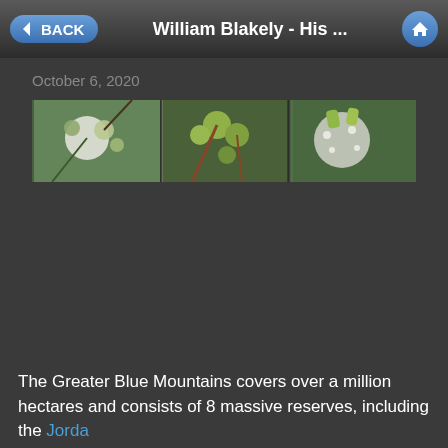William Blakely - His ...
October 6, 2020
[Figure (photo): A horizontal strip of four botanical close-up photographs showing eucalyptus flowers, buds, and leaves against a dark background.]
The Greater Blue Mountains covers over a million hectares and consists of 8 massive reserves, including the Jorda...